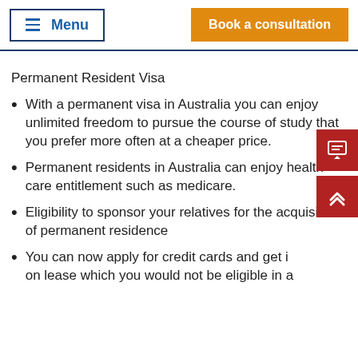Menu | Book a consultation
Permanent Resident Visa
With a permanent visa in Australia you can enjoy unlimited freedom to pursue the course of study that you prefer more often at a cheaper price.
Permanent residents in Australia can enjoy health care entitlement such as medicare.
Eligibility to sponsor your relatives for the acquisition of permanent residence
You can now apply for credit cards and get i… on lease which you would not be eligible in a